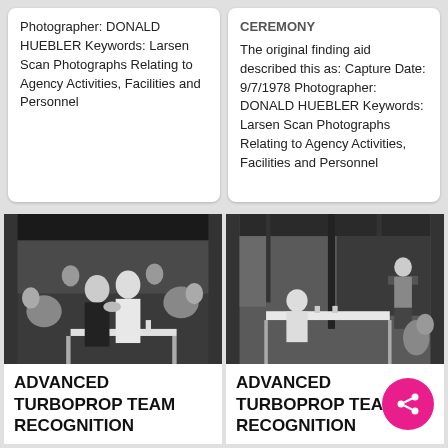Photographer: DONALD HUEBLER Keywords: Larsen Scan Photographs Relating to Agency Activities, Facilities and Personnel
CEREMONY The original finding aid described this as: Capture Date: 9/7/1978 Photographer: DONALD HUEBLER Keywords: Larsen Scan Photographs Relating to Agency Activities, Facilities and Personnel
[Figure (photo): Black and white photograph of people at an outdoor event, two men shaking hands in foreground with audience seated behind them under a covered pavilion.]
ADVANCED TURBOPROP TEAM RECOGNITION
[Figure (photo): Black and white photograph of an outdoor pavilion with a person seated at a table and a speaker at a podium, audience visible in background.]
ADVANCED TURBOPROP TEAM RECOGNITION